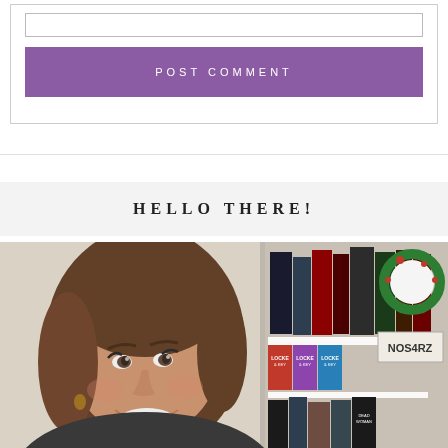[Figure (other): Input box at the top of a comment form section]
POST COMMENT
[Figure (other): Horizontal divider line separating sections]
HELLO THERE!
[Figure (photo): Selfie of a smiling woman with brown hair in front of a bookshelf containing Locke & Key volumes and other books, with a Christmas wreath drawing and NOS4RZ text visible to the right]